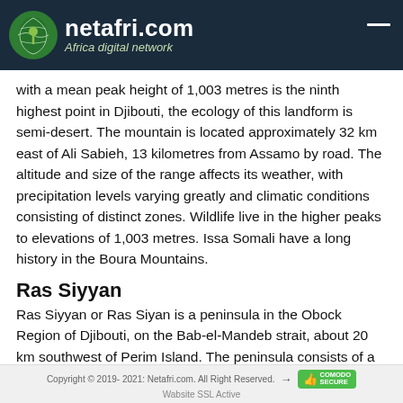netafri.com — Africa digital network
with a mean peak height of 1,003 metres is the ninth highest point in Djibouti, the ecology of this landform is semi-desert. The mountain is located approximately 32 km east of Ali Sabieh, 13 kilometres from Assamo by road. The altitude and size of the range affects its weather, with precipitation levels varying greatly and climatic conditions consisting of distinct zones. Wildlife live in the higher peaks to elevations of 1,003 metres. Issa Somali have a long history in the Boura Mountains.
Ras Siyyan
Ras Siyyan or Ras Siyan is a peninsula in the Obock Region of Djibouti, on the Bab-el-Mandeb strait, about 20 km southwest of Perim Island. The peninsula consists of a
Copyright © 2019- 2021: Netafri.com. All Right Reserved. Wabsite SSL Active